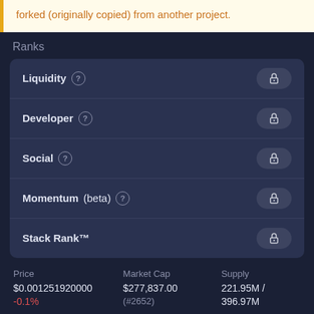forked (originally copied) from another project.
Ranks
Liquidity
Developer
Social
Momentum (beta)
Stack Rank™
| Price | Market Cap | Supply |
| --- | --- | --- |
| $0.001251920000 | $277,837.00 | 221.95M / |
| -0.1% | (#2652) | 396.97M |
Tags